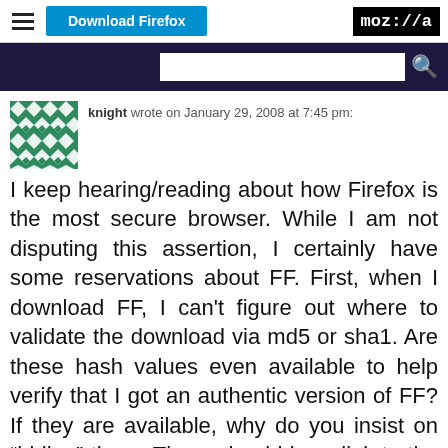Download Firefox | moz://a
knight wrote on January 29, 2008 at 7:45 pm:
I keep hearing/reading about how Firefox is the most secure browser. While I am not disputing this assertion, I certainly have some reservations about FF. First, when I download FF, I can't figure out where to validate the download via md5 or sha1. Are these hash values even available to help verify that I got an authentic version of FF? If they are available, why do you insist on “hiding” them. There should be a link to the secure hash values on the very same page as the link to download FF. I should not have to do a web search to find such info. The URL I went to to D/L FF is
http://www.mozilla.com/en-US/firefox/